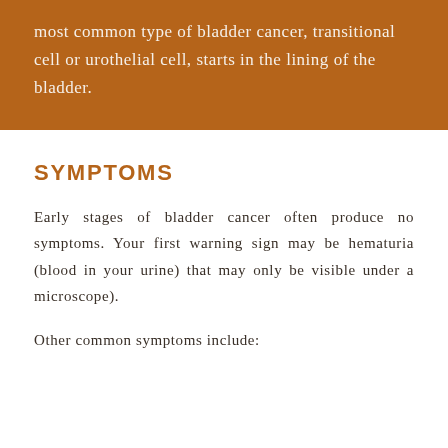most common type of bladder cancer, transitional cell or urothelial cell, starts in the lining of the bladder.
SYMPTOMS
Early stages of bladder cancer often produce no symptoms. Your first warning sign may be hematuria (blood in your urine) that may only be visible under a microscope).
Other common symptoms include: